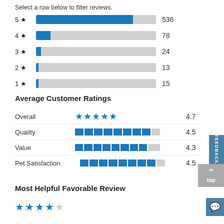Select a row below to filter reviews.
[Figure (bar-chart): Star rating distribution]
Average Customer Ratings
| Category | Rating | Score |
| --- | --- | --- |
| Overall | ★★★★★ | 4.7 |
| Quality | [bar 4.5/5] | 4.5 |
| Value | [bar 4.3/5] | 4.3 |
| Pet Satisfaction | [bar 4.5/5] | 4.5 |
Most Helpful Favorable Review